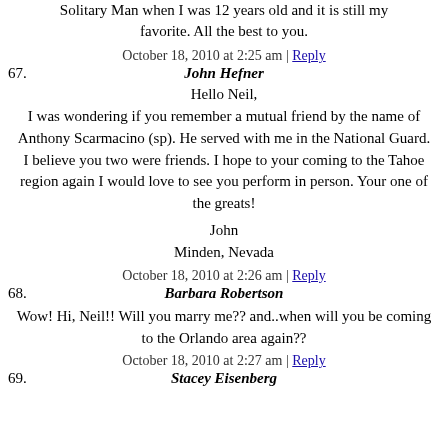Solitary Man when I was 12 years old and it is still my favorite. All the best to you.
October 18, 2010 at 2:25 am | Reply
67. John Hefner
Hello Neil,
I was wondering if you remember a mutual friend by the name of Anthony Scarmacino (sp). He served with me in the National Guard. I believe you two were friends. I hope to your coming to the Tahoe region again I would love to see you perform in person. Your one of the greats!
John
Minden, Nevada
October 18, 2010 at 2:26 am | Reply
68. Barbara Robertson
Wow! Hi, Neil!! Will you marry me?? and..when will you be coming to the Orlando area again??
October 18, 2010 at 2:27 am | Reply
69. Stacey Eisenberg